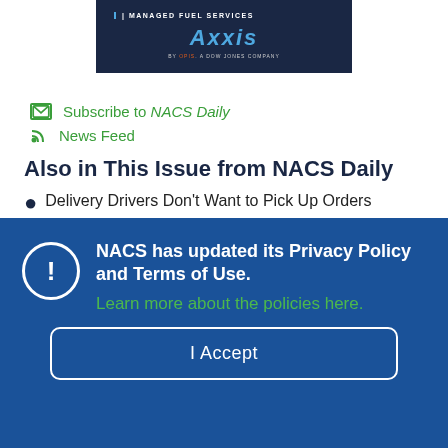[Figure (logo): Managed Fuel Services / Axxis by OPIS, A Dow Jones Company banner on dark navy background]
Subscribe to NACS Daily
News Feed
Also in This Issue from NACS Daily
Delivery Drivers Don't Want to Pick Up Orders
NACS has updated its Privacy Policy and Terms of Use. Learn more about the policies here.
I Accept